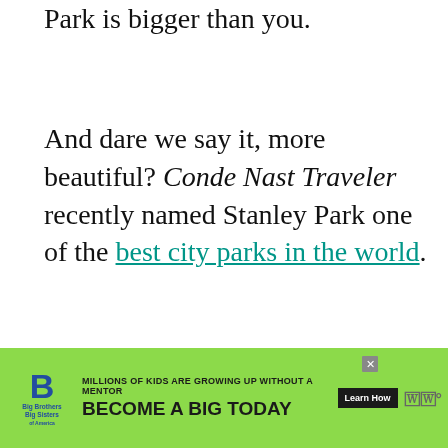Park is bigger than you.
And dare we say it, more beautiful? Conde Nast Traveler recently named Stanley Park one of the best city parks in the world.
We have to thank Vancouver's original city planners for preserving this 1,000-acre tract of forest as parkland right in the heart of downtown Vancouver.
[Figure (screenshot): Social media sharing sidebar with Facebook (blue), Twitter (blue), and Pinterest (red) buttons]
[Figure (infographic): Heart/like widget showing 701 likes and a share icon, plus WHAT'S NEXT panel with A Local's Guide to the...]
[Figure (screenshot): Advertisement banner: Big Brothers Big Sisters - MILLIONS OF KIDS ARE GROWING UP WITHOUT A MENTOR - BECOME A BIG TODAY - Learn How button]